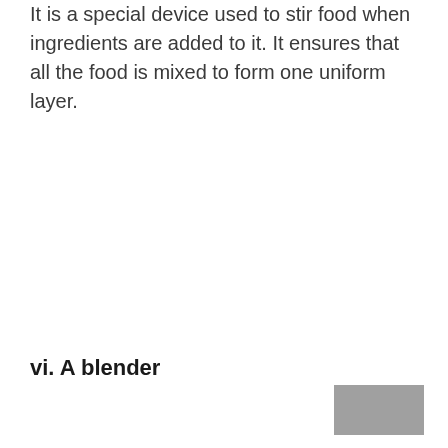It is a special device used to stir food when ingredients are added to it. It ensures that all the food is mixed to form one uniform layer.
vi. A blender